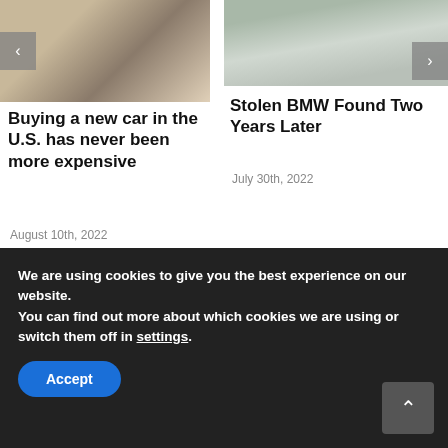[Figure (photo): Photo of car keys being held in a hand]
Buying a new car in the U.S. has never been more expensive
August 10th, 2022
[Figure (photo): Photo of rear of white BMW car with blurred license plate]
Stolen BMW Found Two Years Later
July 30th, 2022
[Figure (logo): CEX.IO logo with stylized C icon]
We are using cookies to give you the best experience on our website.
You can find out more about which cookies we are using or switch them off in settings.
Accept